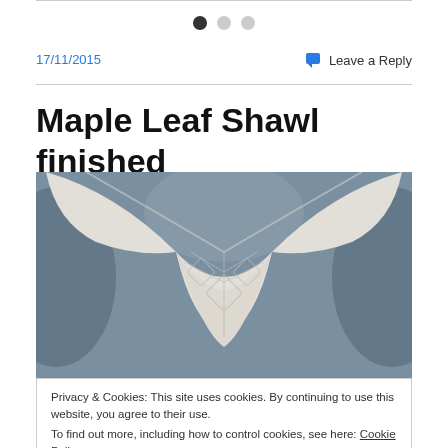[Figure (other): Three pagination dots: one filled black, two grey]
17/11/2015
Leave a Reply
Maple Leaf Shawl finished
[Figure (photo): Photo of a white/cream knitted shawl laid flat on a blue-grey surface, showing the spread wings shape with leaf/lace pattern details in the center]
Privacy & Cookies: This site uses cookies. By continuing to use this website, you agree to their use.
To find out more, including how to control cookies, see here: Cookie Policy
Close and accept
This is the first shawl I have knitted and here are this is